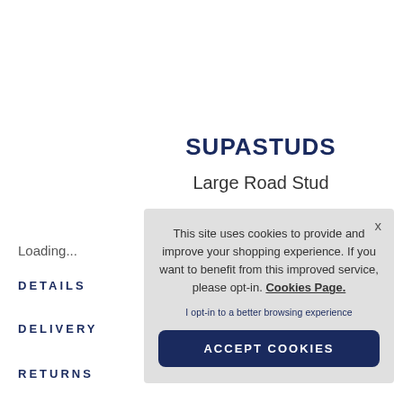SUPASTUDS
Large Road Stud
Loading...
DETAILS
DELIVERY
RETURNS
This site uses cookies to provide and improve your shopping experience. If you want to benefit from this improved service, please opt-in. Cookies Page.
I opt-in to a better browsing experience
ACCEPT COOKIES